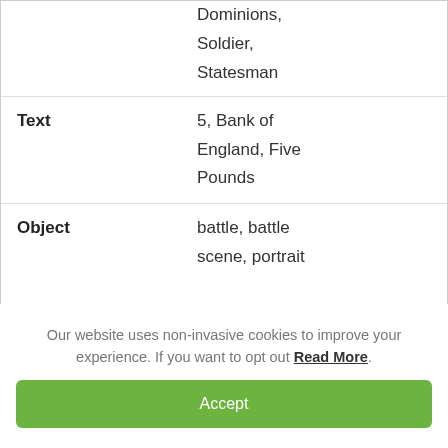|  | Dominions, Soldier, Statesman |
| Text | 5, Bank of England, Five Pounds |
| Object | battle, battle scene, portrait |
Our website uses non-invasive cookies to improve your experience. If you want to opt out Read More.